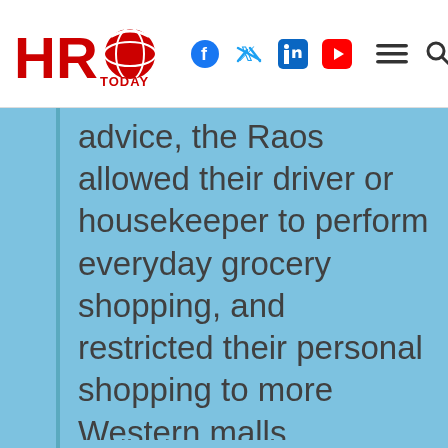HRO Today — with social icons (Facebook, Twitter, LinkedIn, YouTube) and navigation icons (menu, search)
advice, the Raos allowed their driver or housekeeper to perform everyday grocery shopping, and restricted their personal shopping to more Western malls.